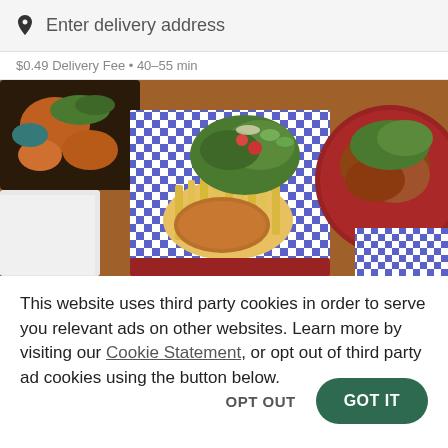Enter delivery address
$0.49 Delivery Fee • 40-55 min
[Figure (photo): Overhead view of food dishes on a wooden table: fried chicken pieces in a black tray, a plate with french fries and a breaded cutlet on blue-and-white checkered paper, a fresh salad with greens and tomatoes, and a red plate with grilled chicken and garnish on the right.]
This website uses third party cookies in order to serve you relevant ads on other websites. Learn more by visiting our Cookie Statement, or opt out of third party ad cookies using the button below.
OPT OUT
GOT IT